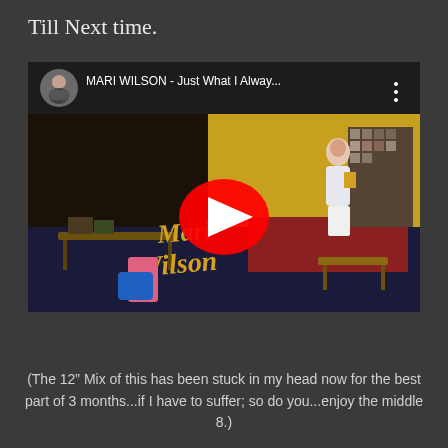Till Next time.
[Figure (screenshot): Embedded YouTube video player showing 'MARI WILSON - Just What I Alway...' with a play button, avatar of a young man, and the Mari Wilson album art showing a woman standing in a living room with 'Mari Wilson' text overlay in gold italic font.]
(The 12" Mix of this has been stuck in my head now for the best part of 3 months...if I have to suffer; so do you...enjoy the middle 8.)